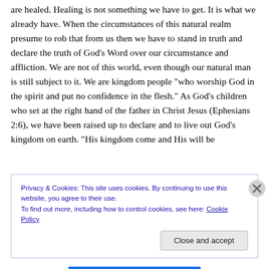are healed. Healing is not something we have to get. It is what we already have. When the circumstances of this natural realm presume to rob that from us then we have to stand in truth and declare the truth of God’s Word over our circumstance and affliction. We are not of this world, even though our natural man is still subject to it. We are kingdom people “who worship God in the spirit and put no confidence in the flesh.” As God’s children who set at the right hand of the father in Christ Jesus (Ephesians 2:6), we have been raised up to declare and to live out God’s kingdom on earth. “His kingdom come and His will be
Privacy & Cookies: This site uses cookies. By continuing to use this website, you agree to their use.
To find out more, including how to control cookies, see here: Cookie Policy